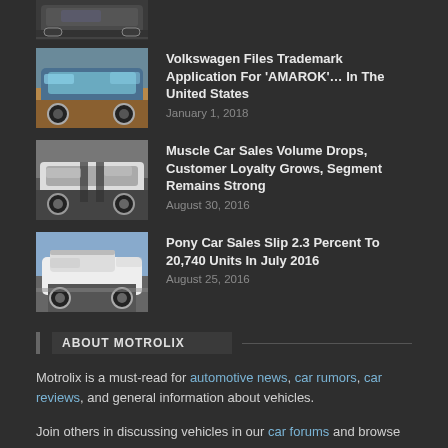[Figure (photo): Partial car image cropped at top of page]
Volkswagen Files Trademark Application For 'AMAROK'... In The United States
January 1, 2018
Muscle Car Sales Volume Drops, Customer Loyalty Grows, Segment Remains Strong
August 30, 2016
Pony Car Sales Slip 2.3 Percent To 20,740 Units In July 2016
August 25, 2016
ABOUT MOTROLIX
Motrolix is a must-read for automotive news, car rumors, car reviews, and general information about vehicles.
Join others in discussing vehicles in our car forums and browse car